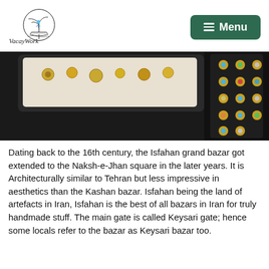VacayWork [logo with palm tree and boat illustration] | Menu
[Figure (photo): Close-up photo of jewelry rings and accessories displayed in dark trays at a bazaar]
Dating back to the 16th century, the Isfahan grand bazar got extended to the Naksh-e-Jhan square in the later years. It is Architecturally similar to Tehran but less impressive in aesthetics than the Kashan bazar. Isfahan being the land of artefacts in Iran, Isfahan is the best of all bazars in Iran for truly handmade stuff. The main gate is called Keysari gate; hence some locals refer to the bazar as Keysari bazar too.